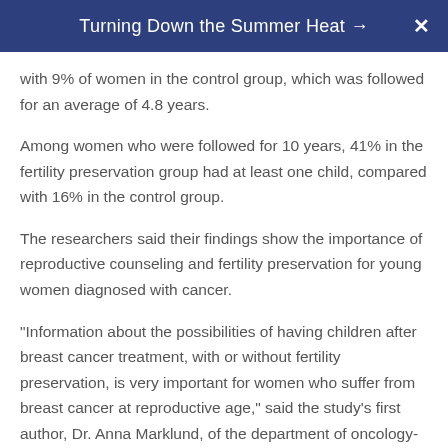Turning Down the Summer Heat →
with 9% of women in the control group, which was followed for an average of 4.8 years.
Among women who were followed for 10 years, 41% in the fertility preservation group had at least one child, compared with 16% in the control group.
The researchers said their findings show the importance of reproductive counseling and fertility preservation for young women diagnosed with cancer.
"Information about the possibilities of having children after breast cancer treatment, with or without fertility preservation, is very important for women who suffer from breast cancer at reproductive age," said the study's first author, Dr. Anna Marklund, of the department of oncology-pathology at Karolinska Institute in Stockholm.